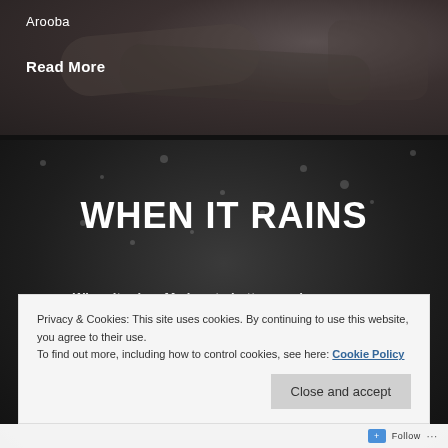Arooba
Read More
[Figure (photo): Dark background photo with rain droplets on a surface]
WHEN IT RAINS
When it rains. My heart shatters and causes me
Privacy & Cookies: This site uses cookies. By continuing to use this website, you agree to their use.
To find out more, including how to control cookies, see here: Cookie Policy
Close and accept
Follow